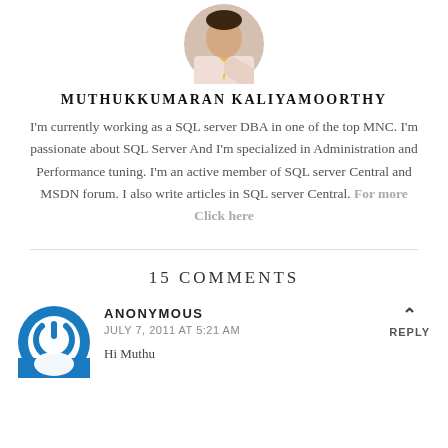[Figure (photo): Circular avatar photo of a person wearing a yellow tie and light pink shirt, shown from the shoulders up]
MUTHUKKUMARAN KALIYAMOORTHY
I'm currently working as a SQL server DBA in one of the top MNC. I'm passionate about SQL Server And I'm specialized in Administration and Performance tuning. I'm an active member of SQL server Central and MSDN forum. I also write articles in SQL server Central. For more Click here
15 COMMENTS
[Figure (logo): Blue circular power button icon used as anonymous user avatar]
ANONYMOUS
JULY 7, 2011 AT 5:21 AM
Hi Muthu